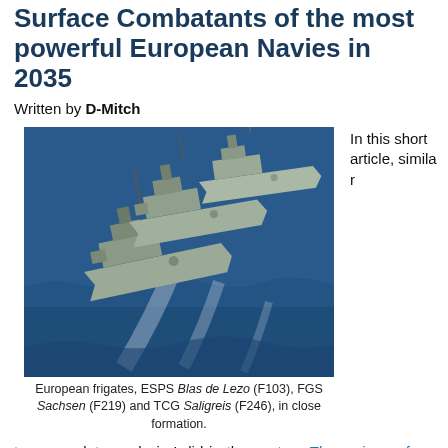Surface Combatants of the most powerful European Navies in 2035
Written by D-Mitch
[Figure (photo): Aerial photograph of three European frigates in close formation on blue ocean: ESPS Blas de Lezo (F103), FGS Sachsen (F219) and TCG Saligreis (F246)]
European frigates, ESPS Blas de Lezo (F103), FGS Sachsen (F219) and TCG Saligreis (F246), in close formation.
In this short article, similar to a complete analysis I did in the past on The major surface combatants of the most powerful European Navies in 2035, I illustrate the six most powerful surface combatant fleets in Europe by 2035 in a single graph, based on the shipbuilding programs that have were scheduled by Russian Nav...